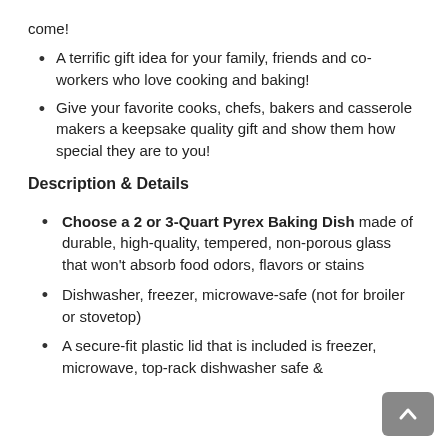come!
A terrific gift idea for your family, friends and co-workers who love cooking and baking!
Give your favorite cooks, chefs, bakers and casserole makers a keepsake quality gift and show them how special they are to you!
Description & Details
Choose a 2 or 3-Quart Pyrex Baking Dish made of durable, high-quality, tempered, non-porous glass that won't absorb food odors, flavors or stains
Dishwasher, freezer, microwave-safe (not for broiler or stovetop)
A secure-fit plastic lid that is included is freezer, microwave, top-rack dishwasher safe &